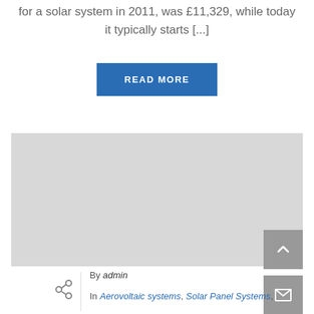for a solar system in 2011, was £11,329, while today it typically starts [...]
READ MORE
[Figure (photo): Gray placeholder image block]
By admin
In Aerovoltaic systems, Solar Panel Systems,